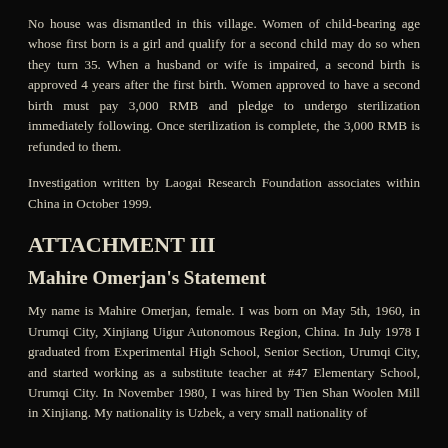No house was dismantled in this village. Women of child-bearing age whose first born is a girl and qualify for a second child may do so when they turn 35. When a husband or wife is impaired, a second birth is approved 4 years after the first birth. Women approved to have a second birth must pay 3,000 RMB and pledge to undergo sterilization immediately following. Once sterilization is complete, the 3,000 RMB is refunded to them.
Investigation written by Laogai Research Foundation associates within China in October 1999.
ATTACHMENT III
Mahire Omerjan's Statement
My name is Mahire Omerjan, female. I was born on May 5th, 1960, in Urumqi City, Xinjiang Uigur Autonomous Region, China. In July 1978 I graduated from Experimental High School, Senior Section, Urumqi City, and started working as a substitute teacher at #47 Elementary School, Urumqi City. In November 1980, I was hired by Tien Shan Woolen Mill in Xinjiang. My nationality is Uzbek, a very small nationality of